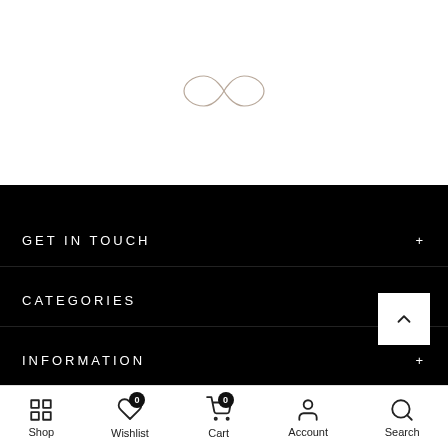[Figure (logo): Infinity symbol logo in thin gold/beige line art, centered in white upper section]
GET IN TOUCH
CATEGORIES
INFORMATION
Shop  Wishlist  Cart  Account  Search